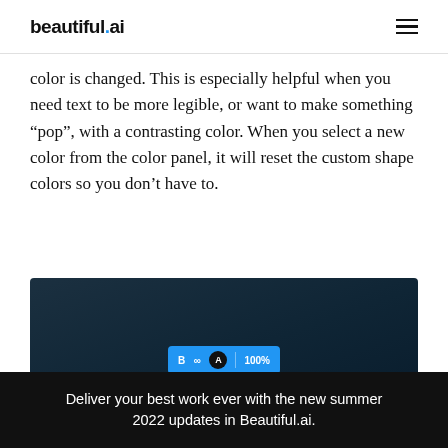beautiful.ai
color is changed. This is especially helpful when you need text to be more legible, or want to make something “pop”, with a contrasting color. When you select a new color from the color panel, it will reset the custom shape colors so you don’t have to.
[Figure (screenshot): Dark background application screenshot showing a formatting toolbar with B, link, A, and 100% controls in a blue toolbar bar.]
Deliver your best work ever with the new summer 2022 updates in Beautiful.ai.